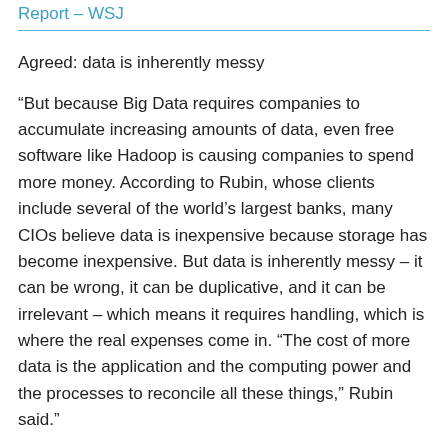Report – WSJ
Agreed: data is inherently messy
“But because Big Data requires companies to accumulate increasing amounts of data, even free software like Hadoop is causing companies to spend more money. According to Rubin, whose clients include several of the world’s largest banks, many CIOs believe data is inexpensive because storage has become inexpensive. But data is inherently messy – it can be wrong, it can be duplicative, and it can be irrelevant – which means it requires handling, which is where the real expenses come in. “The cost of more data is the application and the computing power and the processes to reconcile all these things,” Rubin said.”
tags: bigdata cio wsj rubin